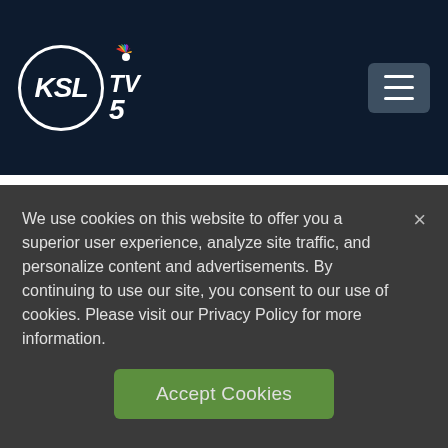KSL TV 5
could grow in the days and weeks to come.
His family said any fire departments that want to add to the collection should send patches to the address:
We use cookies on this website to offer you a superior user experience, analyze site traffic, and personalize content and advertisements. By continuing to use our site, you consent to our use of cookies. Please visit our Privacy Policy for more information.
Accept Cookies